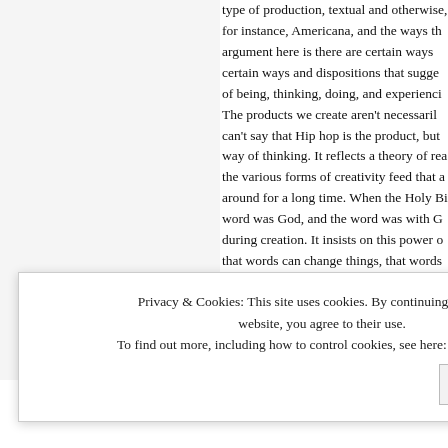type of production, textual and otherwise, for instance, Americana, and the ways th... argument here is there are certain ways... certain ways and dispositions that sugge... of being, thinking, doing, and experienci... The products we create aren't necessaril... can't say that Hip hop is the product, but... way of thinking. It reflects a theory of rea... the various forms of creativity feed that a... around for a long time. When the Holy Bi... word was God, and the word was with G... during creation. It insists on this power o... that words can change things, that words... know within the word "cypher" in Hip hop... improvisation and through performative u...
Privacy & Cookies: This site uses cookies. By continuing to use this website, you agree to their use. To find out more, including how to control cookies, see here: Cookie Policy
Close and accept